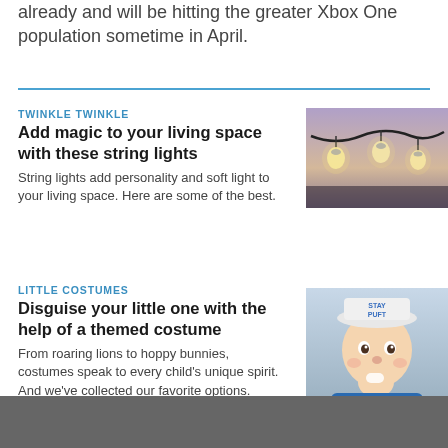already and will be hitting the greater Xbox One population sometime in April.
TWINKLE TWINKLE
Add magic to your living space with these string lights
String lights add personality and soft light to your living space. Here are some of the best.
[Figure (photo): String lights hanging outdoors against a dusky sky]
LITTLE COSTUMES
Disguise your little one with the help of a themed costume
From roaring lions to hoppy bunnies, costumes speak to every child's unique spirit. And we've collected our favorite options.
[Figure (photo): Baby wearing a 'Stay Puft' themed hat and costume, looking at camera]